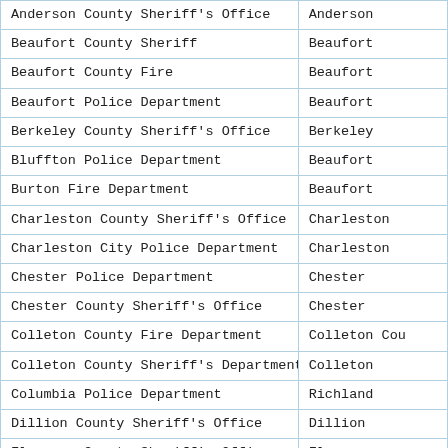| Anderson County Sheriff's Office | Anderson |
| Beaufort County Sheriff | Beaufort |
| Beaufort County Fire | Beaufort |
| Beaufort Police Department | Beaufort |
| Berkeley County Sheriff's Office | Berkeley |
| Bluffton Police Department | Beaufort |
| Burton Fire Department | Beaufort |
| Charleston County Sheriff's Office | Charleston |
| Charleston City Police Department | Charleston |
| Chester Police Department | Chester |
| Chester County Sheriff's Office | Chester |
| Colleton County Fire Department | Colleton Cou |
| Colleton County Sheriff's Department | Colleton |
| Columbia Police Department | Richland |
| Dillion County Sheriff's Office | Dillion |
| Florence County Sheriff's Office | Florence |
| Fairfield County Sheriff's Office | Fairfield |
| Greenwood County Emergency Medical Services | Greenwood |
| Greenwood Police Department | Greenwood |